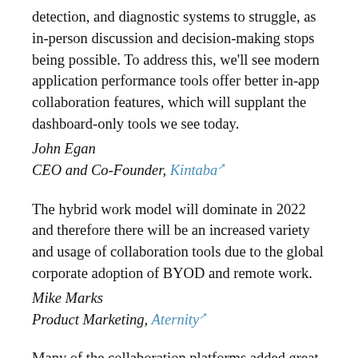detection, and diagnostic systems to struggle, as in-person discussion and decision-making stops being possible. To address this, we'll see modern application performance tools offer better in-app collaboration features, which will supplant the dashboard-only tools we see today.
John Egan
CEO and Co-Founder, Kintaba
The hybrid work model will dominate in 2022 and therefore there will be an increased variety and usage of collaboration tools due to the global corporate adoption of BYOD and remote work.
Mike Marks
Product Marketing, Aternity
Many of the collaboration platforms added great functionality in 2021, enabling them to address the remote workforce and the in-office workforce. As we evolve into the hybrid workforce of the future, I think we will continue to see tools add functionality to try and make communication